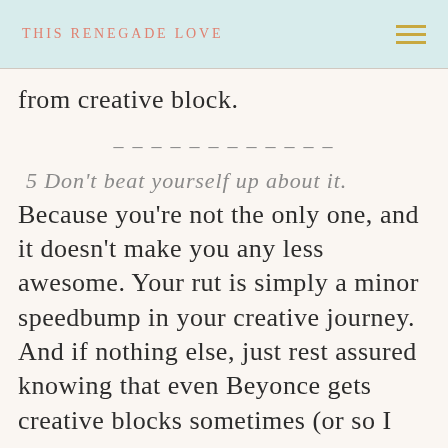THIS RENEGADE LOVE
from creative block.
------------
5 Don't beat yourself up about it. Because you're not the only one, and it doesn't make you any less awesome. Your rut is simply a minor speedbump in your creative journey. And if nothing else, just rest assured knowing that even Beyonce gets creative blocks sometimes (or so I